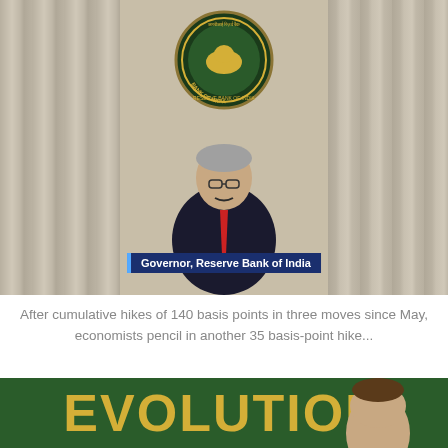[Figure (photo): Video screenshot of the Governor of the Reserve Bank of India seated at a podium with the RBI seal visible behind him. He wears a dark suit and red tie. A lower-third graphic reads 'Governor, Reserve Bank of India'. Curtains visible on either side.]
After cumulative hikes of 140 basis points in three moves since May, economists pencil in another 35 basis-point hike...
[Figure (photo): Bottom portion of a book or banner with large gold letters reading 'EVOLUTION' on a dark green background, with a person's face partially visible.]